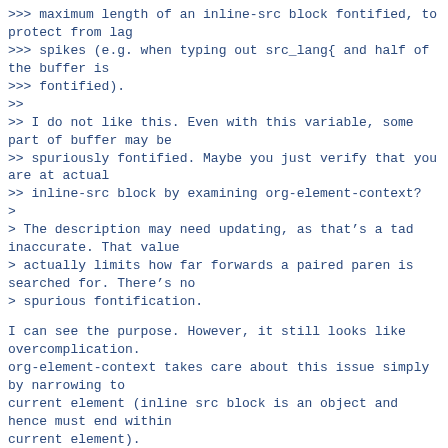>>> maximum length of an inline-src block fontified, to protect from lag
>>> spikes (e.g. when typing out src_lang{ and half of the buffer is
>>> fontified).
>>
>> I do not like this. Even with this variable, some part of buffer may be
>> spuriously fontified. Maybe you just verify that you are at actual
>> inline-src block by examining org-element-context?
>
> The description may need updating, as that’s a tad inaccurate. That value
> actually limits how far forwards a paired paren is searched for. There’s no
> spurious fontification.
I can see the purpose. However, it still looks like overcomplication.
org-element-context takes care about this issue simply by narrowing to
current element (inline src block is an object and hence must end within
current element).
>>> +        (font-lock-append-text-property lang-beg lang-end 'face 'org-meta-line)
>>> +        (font-lock-append-text-property beg lang-beg 'face 'shadow)